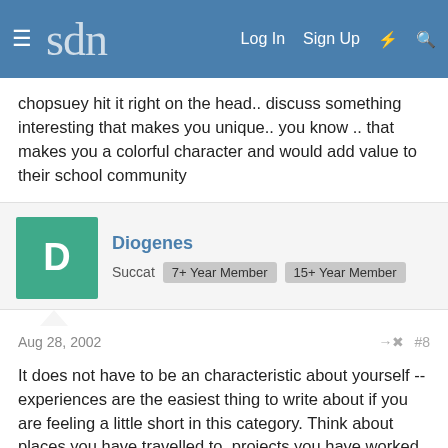sdn — Log In  Sign Up
chopsuey hit it right on the head.. discuss something interesting that makes you unique.. you know .. that makes you a colorful character and would add value to their school community
Diogenes
Succat  7+ Year Member  15+ Year Member
Aug 28, 2002  #8
It does not have to be an characteristic about yourself -- experiences are the easiest thing to write about if you are feeling a little short in this category. Think about places you have travelled to, projects you have worked on, etc.
monster2
Senior Member  7+ Year Member  15+ Year Member